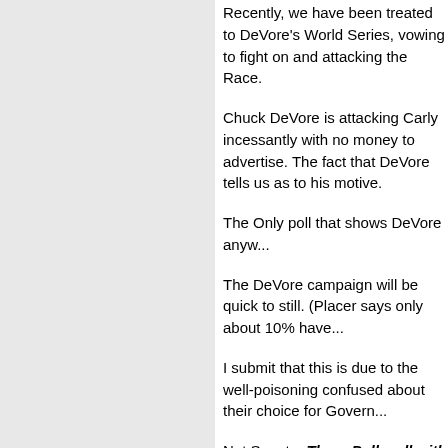Recently, we have been treated to DeVore's World Series, vowing to fight on and attacking the Gubernatorial Race.
Chuck DeVore is attacking Carly incessantly with no money to advertise. The fact that DeVore is doing this tells us as to his motive.
The Only poll that shows DeVore anyw...
The DeVore campaign will be quick to point out that still. (Placer says only about 10% have...
I submit that this is due to the well-poisoning confused about their choice for Governor.
Not Senate. Three Polls, all with almost identical results: 44-21 / 46-23 / 41-21 Fiorina over Campbell. And the support for Fiorina is not "Soft" support...
And now the DeVore campaign is rolling...